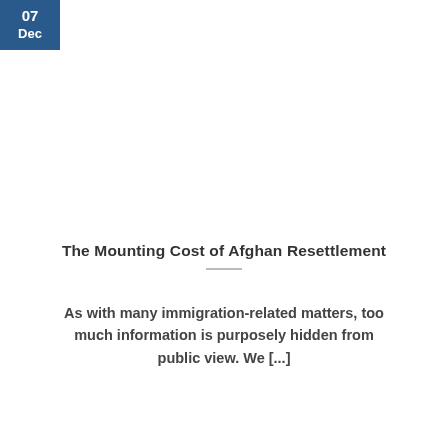Dec
The Mounting Cost of Afghan Resettlement
As with many immigration-related matters, too much information is purposely hidden from public view. We [...]
1 2 >